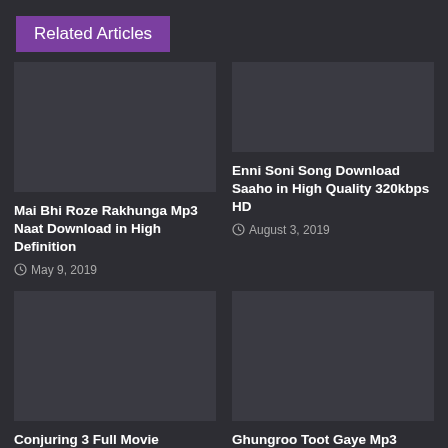Related Articles
Mai Bhi Roze Rakhunga Mp3 Naat Download in High Definition
May 9, 2019
Enni Soni Song Download Saaho in High Quality 320kbps HD
August 3, 2019
Conjuring 3 Full Movie
Ghungroo Toot Gaye Mp3